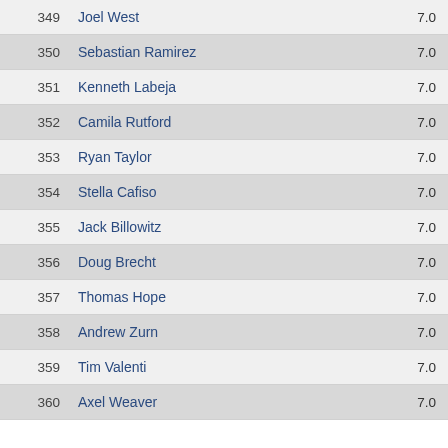| Rank | Name | Score |
| --- | --- | --- |
| 349 | Joel West | 7.0 |
| 350 | Sebastian Ramirez | 7.0 |
| 351 | Kenneth Labeja | 7.0 |
| 352 | Camila Rutford | 7.0 |
| 353 | Ryan Taylor | 7.0 |
| 354 | Stella Cafiso | 7.0 |
| 355 | Jack Billowitz | 7.0 |
| 356 | Doug Brecht | 7.0 |
| 357 | Thomas Hope | 7.0 |
| 358 | Andrew Zurn | 7.0 |
| 359 | Tim Valenti | 7.0 |
| 360 | Axel Weaver | 7.0 |